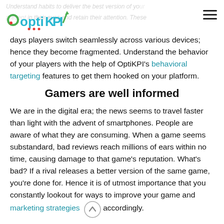OptiKPI logo and navigation header
days players switch seamlessly across various devices; hence they become fragmented. Understand the behavior of your players with the help of OptiKPI's behavioral targeting features to get them hooked on your platform.
Gamers are well informed
We are in the digital era; the news seems to travel faster than light with the advent of smartphones. People are aware of what they are consuming. When a game seems substandard, bad reviews reach millions of ears within no time, causing damage to that game's reputation. What's bad? If a rival releases a better version of the same game, you're done for. Hence it is of utmost importance that you constantly lookout for ways to improve your game and marketing strategies accordingly.